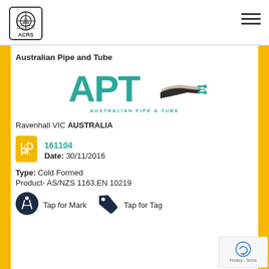[Figure (logo): ACRS logo - circular emblem with 'ACRS' text below, inside a rounded square border]
[Figure (illustration): Hamburger menu icon - three horizontal lines]
[Figure (logo): APT Australian Pipe & Tube logo with teal text and pipe graphic]
Australian Pipe and Tube
Ravenhall VIC AUSTRALIA
161104
Date: 30/11/2016
Type: Cold Formed
Product- AS/NZS 1163,EN 10219
Tap for Mark
Tap for Tag